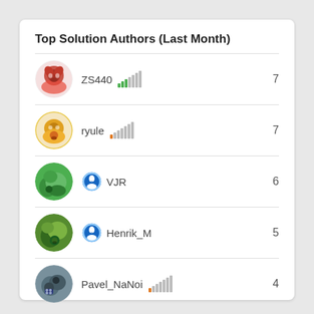Top Solution Authors (Last Month)
ZS440 — 7
ryule — 7
VJR — 6
Henrik_M — 5
Pavel_NaNoi — 4
See all >>